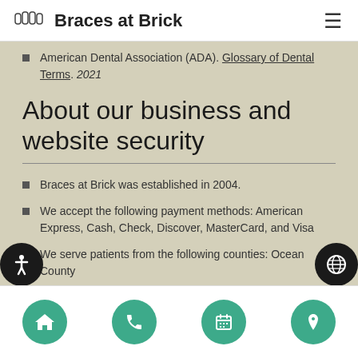Braces at Brick
American Dental Association (ADA). Glossary of Dental Terms. 2021
About our business and website security
Braces at Brick was established in 2004.
We accept the following payment methods: American Express, Cash, Check, Discover, MasterCard, and Visa
We serve patients from the following counties: Ocean County